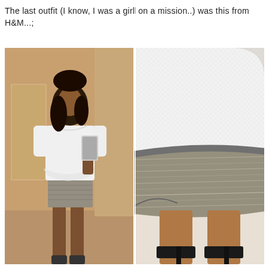The last outfit (I know, I was a girl on a mission..) was this from H&M...;
[Figure (photo): Two side-by-side photos of a woman wearing a white peplum top and grey metallic mini skirt. Left photo shows full-length mirror selfie. Right photo is a close-up showing the skirt detail and black heels.]